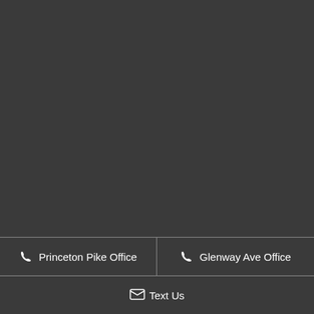[Figure (photo): Dark background area taking up most of the page]
Princeton Pike Office
Glenway Ave Office
Text Us